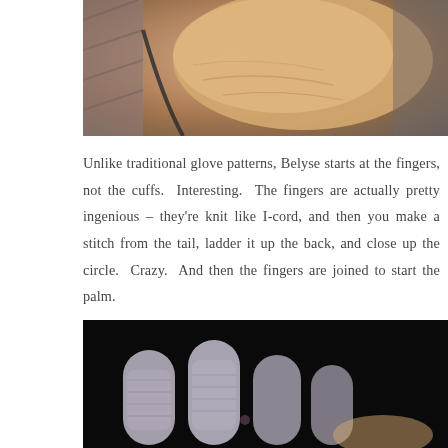[Figure (photo): Close-up photo of a person's hand/wrist resting, skin tones visible with fabric in background]
Unlike traditional glove patterns, Belyse starts at the fingers, not the cuffs. Interesting. The fingers are actually pretty ingenious – they're knit like I-cord, and then you make a stitch from the tail, ladder it up the back, and close up the circle. Crazy. And then the fingers are joined to start the palm.
[Figure (photo): Photo of knitted finger tubes on a hand against a dark background, showing the I-cord style knitting in progress]